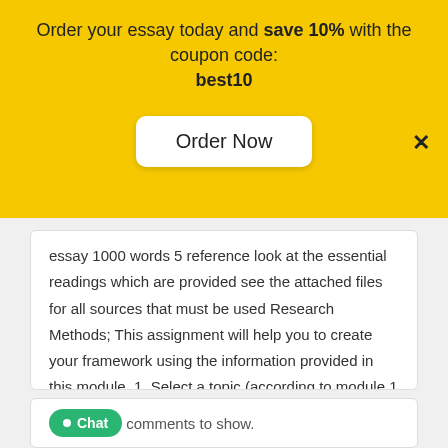Order your essay today and save 10% with the coupon code: best10
Order Now
essay 1000 words 5 reference look at the essential readings which are provided see the attached files for all sources that must be used Research Methods; This assignment will help you to create your framework using the information provided in this module. 1. Select a topic (according to module 1 and 2) 2. For this particular case,
comments to show.